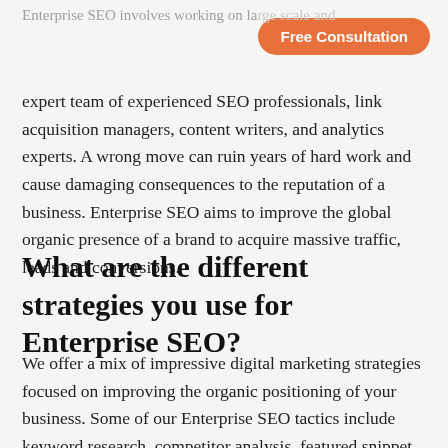Enterprise SEO involves working on la... and
... ... ... ...
Free Consultation
expert team of experienced SEO professionals, link acquisition managers, content writers, and analytics experts. A wrong move can ruin years of hard work and cause damaging consequences to the reputation of a business. Enterprise SEO aims to improve the global organic presence of a brand to acquire massive traffic, leads and conversions.
What are the different strategies you use for Enterprise SEO?
We offer a mix of impressive digital marketing strategies focused on improving the organic positioning of your business. Some of our Enterprise SEO tactics include keyword research, competitor analysis, featured snippet optimization, link acquisition, content marketing, internal linking optimization,